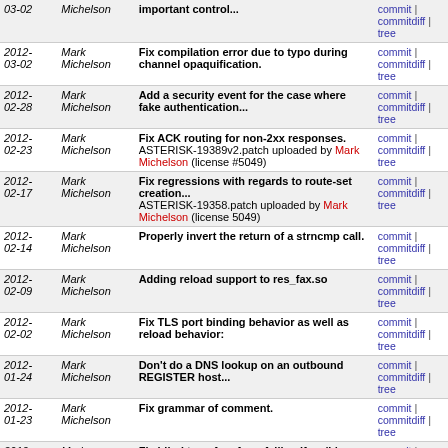| Date | Author | Message | Links |
| --- | --- | --- | --- |
| 2012-03-02 | Mark Michelson | important control... | commit | commitdiff | tree |
| 2012-03-02 | Mark Michelson | Fix compilation error due to typo during channel opaquification. | commit | commitdiff | tree |
| 2012-02-28 | Mark Michelson | Add a security event for the case where fake authentication... | commit | commitdiff | tree |
| 2012-02-23 | Mark Michelson | Fix ACK routing for non-2xx responses. ASTERISK-19389v2.patch uploaded by Mark Michelson (license #5049) | commit | commitdiff | tree |
| 2012-02-17 | Mark Michelson | Fix regressions with regards to route-set creation... ASTERISK-19358.patch uploaded by Mark Michelson (license 5049) | commit | commitdiff | tree |
| 2012-02-14 | Mark Michelson | Properly invert the return of a strncmp call. | commit | commitdiff | tree |
| 2012-02-09 | Mark Michelson | Adding reload support to res_fax.so | commit | commitdiff | tree |
| 2012-02-02 | Mark Michelson | Fix TLS port binding behavior as well as reload behavior: | commit | commitdiff | tree |
| 2012-01-24 | Mark Michelson | Don't do a DNS lookup on an outbound REGISTER host... | commit | commitdiff | tree |
| 2012-01-23 | Mark Michelson | Fix grammar of comment. | commit | commitdiff | tree |
| 2012-01-23 | Mark Michelson | Fix blind transfers from failing if an 'h' extension... ASTERISK-19173 by Mark Michelson (license 5049) | commit | commitdiff | tree |